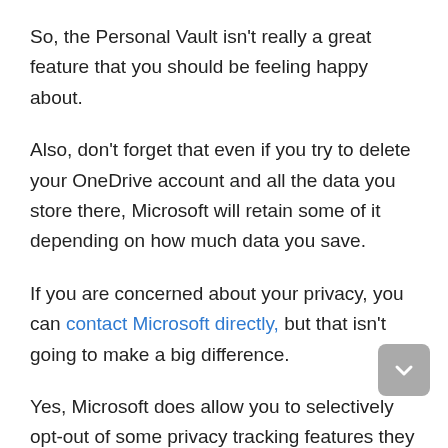So, the Personal Vault isn’t really a great feature that you should be feeling happy about.
Also, don’t forget that even if you try to delete your OneDrive account and all the data you store there, Microsoft will retain some of it depending on how much data you save.
If you are concerned about your privacy, you can contact Microsoft directly, but that isn’t going to make a big difference.
Yes, Microsoft does allow you to selectively opt-out of some privacy tracking features they have, and